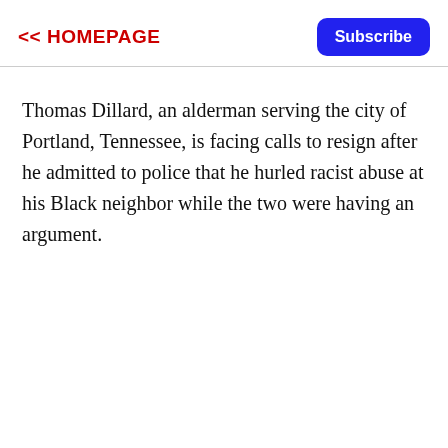<< HOMEPAGE
Thomas Dillard, an alderman serving the city of Portland, Tennessee, is facing calls to resign after he admitted to police that he hurled racist abuse at his Black neighbor while the two were having an argument.